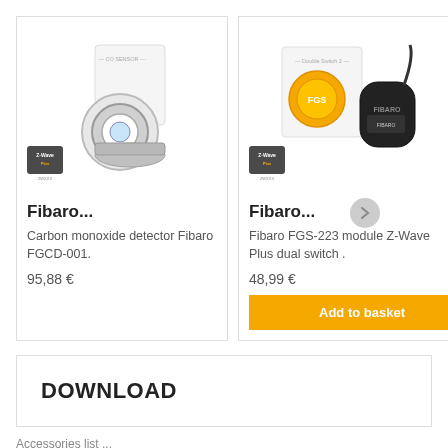[Figure (photo): Fibaro CO Sensor product box and device, white circular sensor with silver ring, Z-Wave Plus badge]
Fibaro...
Carbon monoxide detector Fibaro FGCD-001.
95,88 €
[Figure (photo): Fibaro Double Switch 2 FGS-223 module, black curved module with product box, Z-Wave Plus badge]
Fibaro...
Fibaro FGS-223 module Z-Wave Plus dual switch .
48,99 €
Add to basket
Fib...
Fiba... ape...
42,3...
A...
DOWNLOAD